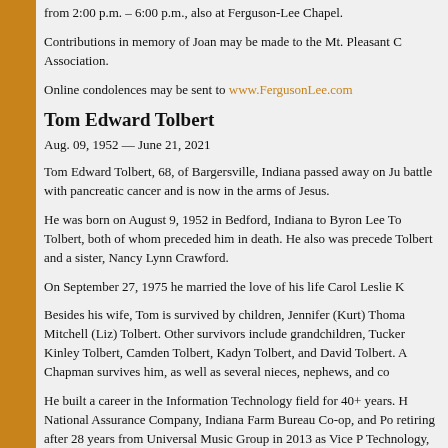from 2:00 p.m. – 6:00 p.m., also at Ferguson-Lee Chapel.
Contributions in memory of Joan may be made to the Mt. Pleasant C Association.
Online condolences may be sent to www.FergusonLee.com
Tom Edward Tolbert
Aug. 09, 1952 — June 21, 2021
Tom Edward Tolbert, 68, of Bargersville, Indiana passed away on Ju battle with pancreatic cancer and is now in the arms of Jesus.
He was born on August 9, 1952 in Bedford, Indiana to Byron Lee To Tolbert, both of whom preceded him in death. He also was precede Tolbert and a sister, Nancy Lynn Crawford.
On September 27, 1975 he married the love of his life Carol Leslie K
Besides his wife, Tom is survived by children, Jennifer (Kurt) Thoma Mitchell (Liz) Tolbert. Other survivors include grandchildren, Tucker Kinley Tolbert, Camden Tolbert, Kadyn Tolbert, and David Tolbert. A Chapman survives him, as well as several nieces, nephews, and co
He built a career in the Information Technology field for 40+ years. H National Assurance Company, Indiana Farm Bureau Co-op, and Po retiring after 28 years from Universal Music Group in 2013 as Vice P Technology, Supply Chain Systems.